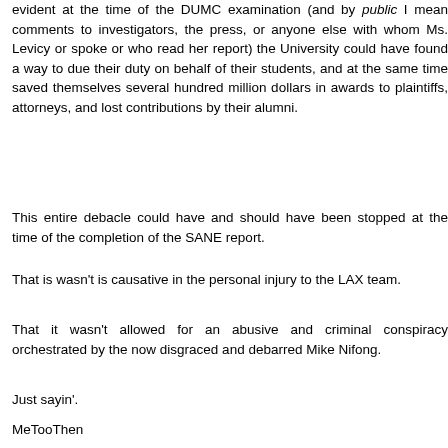evident at the time of the DUMC examination (and by public I mean comments to investigators, the press, or anyone else with whom Ms. Levicy or spoke or who read her report) the University could have found a way to due their duty on behalf of their students, and at the same time saved themselves several hundred million dollars in awards to plaintiffs, attorneys, and lost contributions by their alumni.
This entire debacle could have and should have been stopped at the time of the completion of the SANE report.
That is wasn't is causative in the personal injury to the LAX team.
That it wasn't allowed for an abusive and criminal conspiracy orchestrated by the now disgraced and debarred Mike Nifong.
Just sayin'.
MeTooThen